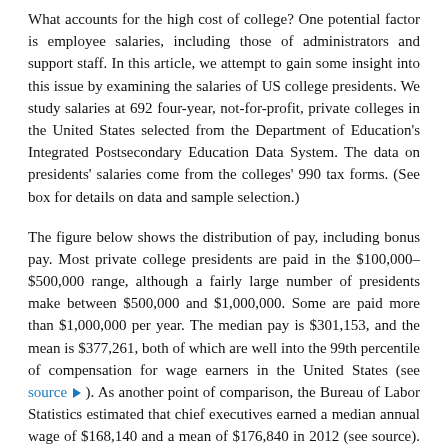What accounts for the high cost of college? One potential factor is employee salaries, including those of administrators and support staff. In this article, we attempt to gain some insight into this issue by examining the salaries of US college presidents. We study salaries at 692 four-year, not-for-profit, private colleges in the United States selected from the Department of Education's Integrated Postsecondary Education Data System. The data on presidents' salaries come from the colleges' 990 tax forms. (See box for details on data and sample selection.)
The figure below shows the distribution of pay, including bonus pay. Most private college presidents are paid in the $100,000–$500,000 range, although a fairly large number of presidents make between $500,000 and $1,000,000. Some are paid more than $1,000,000 per year. The median pay is $301,153, and the mean is $377,261, both of which are well into the 99th percentile of compensation for wage earners in the United States (see source ➤ ). As another point of comparison, the Bureau of Labor Statistics estimated that chief executives earned a median annual wage of $168,140 and a mean of $176,840 in 2012 (see source). As a final point of comparison, nonprofit CEOs earned a median pay of $120,396, according to Charity Navigator ➤ .